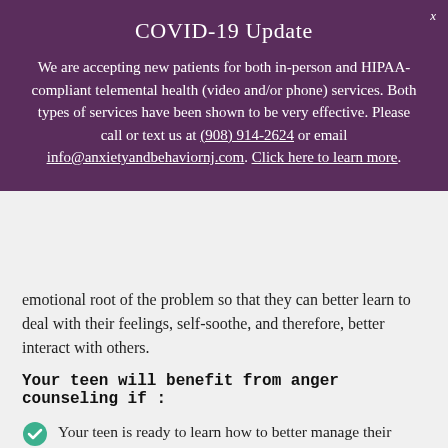COVID-19 Update
We are accepting new patients for both in-person and HIPAA-compliant telemental health (video and/or phone) services. Both types of services have been shown to be very effective. Please call or text us at (908) 914-2624 or email info@anxietyandbehaviornj.com. Click here to learn more.
emotional root of the problem so that they can better learn to deal with their feelings, self-soothe, and therefore, better interact with others.
Your teen will benefit from anger counseling if :
Your teen is ready to learn how to better manage their emotions
Your teen is motivated to get control over emotional tirades...